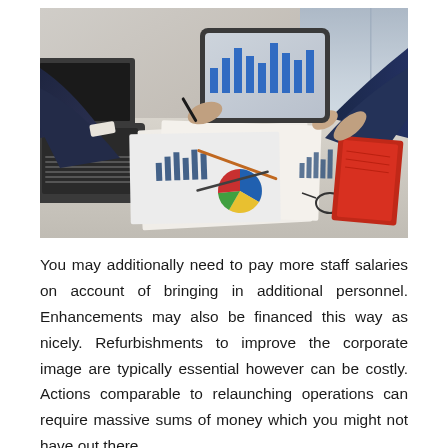[Figure (photo): Business meeting scene with people reviewing financial charts and graphs on papers spread on a table, with a tablet being held, a laptop visible on the left, and people pointing at documents.]
You may additionally need to pay more staff salaries on account of bringing in additional personnel. Enhancements may also be financed this way as nicely. Refurbishments to improve the corporate image are typically essential however can be costly. Actions comparable to relaunching operations can require massive sums of money which you might not have out there.